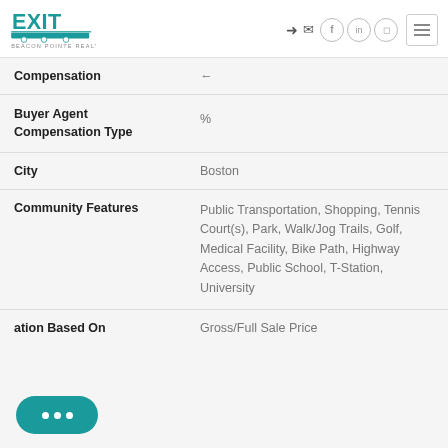EXIT Realty logo with social media icons and navigation menu
| Field | Value |
| --- | --- |
| Compensation | ← |
| Buyer Agent Compensation Type | % |
| City | Boston |
| Community Features | Public Transportation, Shopping, Tennis Court(s), Park, Walk/Jog Trails, Golf, Medical Facility, Bike Path, Highway Access, Public School, T-Station, University |
| ...ation Based On | Gross/Full Sale Price |